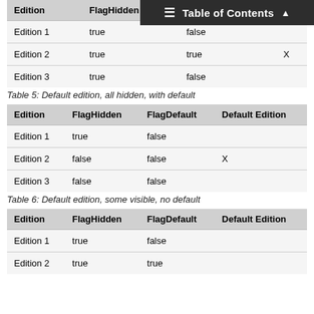| Edition | FlagHidden | FlagDefault | Default Edition |
| --- | --- | --- | --- |
| Edition 1 | true | false |  |
| Edition 2 | true | true | X |
| Edition 3 | true | false |  |
Table 5: Default edition, all hidden, with default
| Edition | FlagHidden | FlagDefault | Default Edition |
| --- | --- | --- | --- |
| Edition 1 | true | false |  |
| Edition 2 | false | false | X |
| Edition 3 | false | false |  |
Table 6: Default edition, some visible, no default
| Edition | FlagHidden | FlagDefault | Default Edition |
| --- | --- | --- | --- |
| Edition 1 | true | false |  |
| Edition 2 | true | true |  |